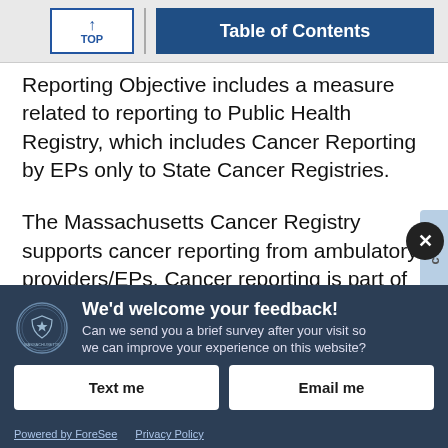TOP | Table of Contents
Reporting Objective includes a measure related to reporting to Public Health Registry, which includes Cancer Reporting by EPs only to State Cancer Registries.
The Massachusetts Cancer Registry supports cancer reporting from ambulatory providers/EPs. Cancer reporting is part of the Centers for Medicare and
[Figure (other): Feedback overlay banner with Massachusetts state seal, title 'We’d welcome your feedback!', subtitle 'Can we send you a brief survey after your visit so we can improve your experience on this website?', buttons 'Text me' and 'Email me', footer with 'Powered by ForeSee' and 'Privacy Policy' links, and a close button.]